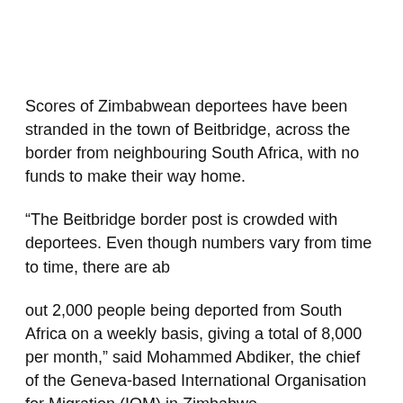Scores of Zimbabwean deportees have been stranded in the town of Beitbridge, across the border from neighbouring South Africa, with no funds to make their way home.
“The Beitbridge border post is crowded with deportees. Even though numbers vary from time to time, there are ab
out 2,000 people being deported from South Africa on a weekly basis, giving a total of 8,000 per month,” said Mohammed Abdiker, the chief of the Geneva-based International Organisation for Migration (IOM) in Zimbabwe.
Thousands cross the border to South Africa every month, driven by the need to escape the economic crisis in Zimbabwe, where inflation has risen to 782 percent and unemployment is over 70 percent.